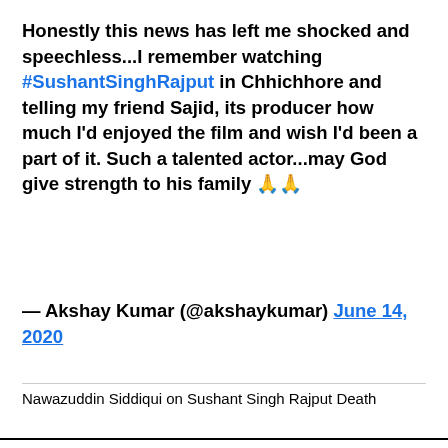Honestly this news has left me shocked and speechless...I remember watching #SushantSinghRajput in Chhichhore and telling my friend Sajid, its producer how much I'd enjoyed the film and wish I'd been a part of it. Such a talented actor...may God give strength to his family 🙏🙏
— Akshay Kumar (@akshaykumar) June 14, 2020
Nawazuddin Siddiqui on Sushant Singh Rajput Death